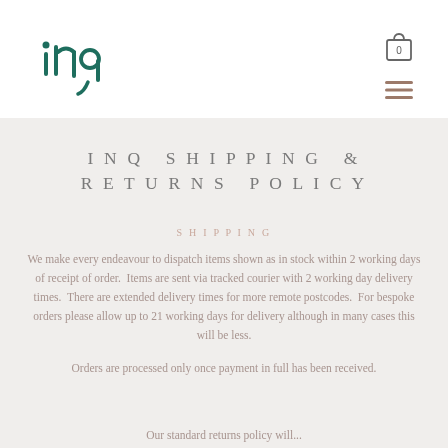[Figure (logo): INQ brand logo in teal/dark green stylized lettering]
[Figure (other): Shopping bag icon with number 0 and hamburger menu icon]
INQ SHIPPING & RETURNS POLICY
SHIPPING
We make every endeavour to dispatch items shown as in stock within 2 working days of receipt of order. Items are sent via tracked courier with 2 working day delivery times. There are extended delivery times for more remote postcodes. For bespoke orders please allow up to 21 working days for delivery although in many cases this will be less.
Orders are processed only once payment in full has been received.
Our standard returns policy will...